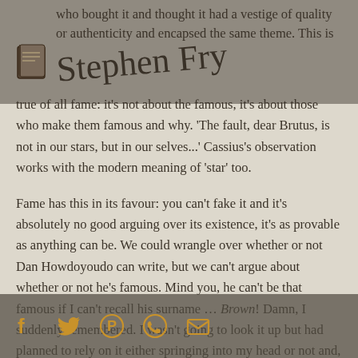who bought it and thought it had a vestige of quality or authenticity and encapsed the same theme. This is true of all fame: it's not about the famous, it's about those who make them famous and why. 'The fault, dear Brutus, is not in our stars, but in our selves...' Cassius's observation works with the modern meaning of 'star' too.
[Figure (illustration): Stephen Fry signature in cursive script overlaid on the top portion of the page, with a small book/notepad icon to the left.]
Fame has this in its favour: you can't fake it and it's absolutely no good arguing over its existence, it's as provable as anything can be. We could wrangle over whether or not Dan Howdoyoudo can write, but we can't argue about whether or not he's famous. Mind you, he can't be that famous if I can't recall his surname ... Brown! Damn, I suddenly remembered. I wasn't going to look it up but had planned to rely on it either springing into my head or not and, annoyingly, it just has (or it just 'did', as Americans would say). He is, or rather the phenomenon of his dreadful book is, certainly famous.
[Figure (infographic): Social media sharing icons bar at bottom: Facebook, Twitter, Pinterest, WhatsApp/phone, Email — rendered in golden/amber color on dark overlay.]